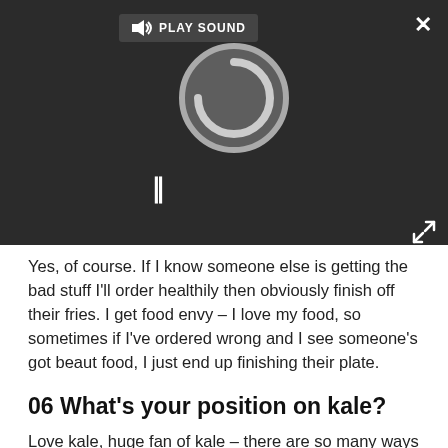[Figure (screenshot): Video/audio player overlay on dark background showing a play sound button, a loading spinner circle, a pause button (||), a close (×) button, and an expand arrow button.]
Yes, of course. If I know someone else is getting the bad stuff I'll order healthily then obviously finish off their fries. I get food envy – I love my food, so sometimes if I've ordered wrong and I see someone's got beaut food, I just end up finishing their plate.
06 What's your position on kale?
Love kale, huge fan of kale – there are so many ways you can have it. My flatmate's girlfriend dresses it with tahini which is delicious, and I put it in my morning